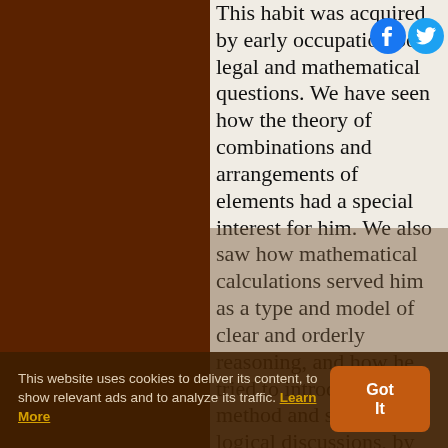This habit was acquired by early occupation both legal and mathematical questions. We have seen how the theory of combinations and arrangements of elements had a special interest for him. We also saw how mathematical calculations served him as a type and model of clear and orderly reasoning, and how he tried to introduce method and system into logical discussions, by reducing to a small number of terms the multitude of compound
This website uses cookies to deliver its content, to show relevant ads and to analyze its traffic. Learn More